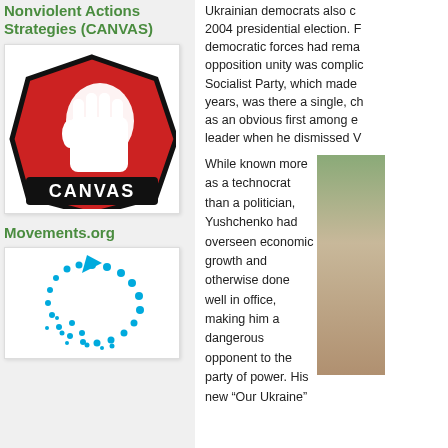Nonviolent Actions Strategies (CANVAS)
[Figure (logo): CANVAS logo featuring a raised fist on red and olive-green hexagonal background with 'CANVAS' text at the bottom]
Movements.org
[Figure (logo): Movements.org logo with blue dotted circular arrow design]
Ukrainian democrats also c 2004 presidential election. democratic forces had rema opposition unity was compli Socialist Party, which made years, was there a single, c as an obvious first among e leader when he dismissed V
While known more as a technocrat than a politician, Yushchenko had overseen economic growth and otherwise done well in office, making him a dangerous opponent to the party of power. His new "Our Ukraine"
[Figure (photo): Partial photo of a person, cropped on the right side of the page]